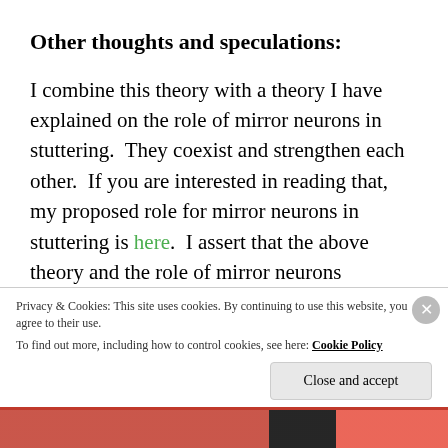Other thoughts and speculations:
I combine this theory with a theory I have explained on the role of mirror neurons in stuttering.  They coexist and strengthen each other.  If you are interested in reading that, my proposed role for mirror neurons in stuttering is here.  I assert that the above theory and the role of mirror neurons contribute heavily to the core of the stuttering condition.  However, I also combine these theories with the theory that people who stutter understandably begin to try to control their speech
Privacy & Cookies: This site uses cookies. By continuing to use this website, you agree to their use.
To find out more, including how to control cookies, see here: Cookie Policy